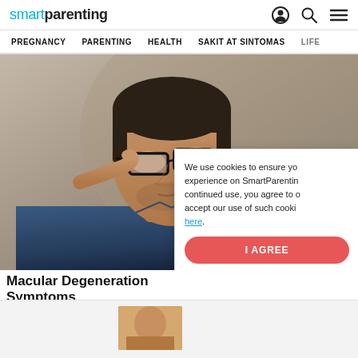smartparenting — navigation header with icons
PREGNANCY  PARENTING  HEALTH  SAKIT AT SINTOMAS  LIFE
[Figure (photo): Man adjusting glasses with fingers, wearing dark denim shirt, against gray-brown background]
We use cookies to ensure your experience on SmartParenting. By continued use, you agree to our accept our use of such cookies here.
I AGREE
Macular Degeneration Symptoms
Macular Degeneration | Search Ads | S